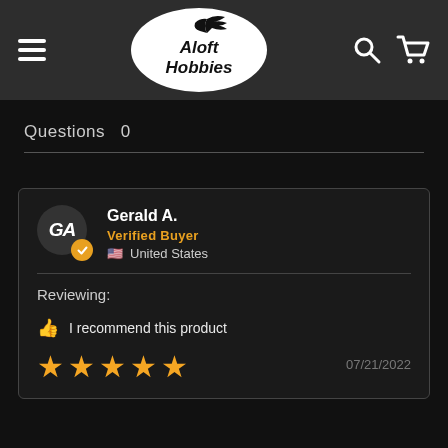[Figure (logo): Aloft Hobbies logo — white oval with black silhouette eagle and bold italic 'Aloft Hobbies' text]
Aloft Hobbies — navigation header with hamburger menu, logo, search and cart icons
Questions   0
Gerald A.
Verified Buyer
🇺🇸 United States
Reviewing:
👍 I recommend this product
★★★★★  07/21/2022